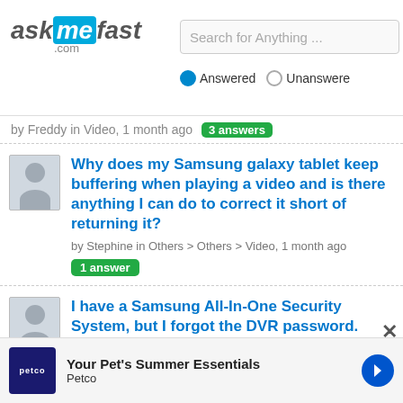askmefast.com — Search for Anything ... — Answered / Unanswered
by Freddy in Video, 1 month ago  3 answers
Why does my Samsung galaxy tablet keep buffering when playing a video and is there anything I can do to correct it short of returning it?
by Stephine in Others > Others > Video, 1 month ago  1 answer
I have a Samsung All-In-One Security System, but I forgot the DVR password. How would I reset it? The DVR Model #s are SDR-C75300, SDR-C74300, and ...
by kurohime01 in Consumer Electronics > Camcorders >
Your Pet's Summer Essentials — Petco